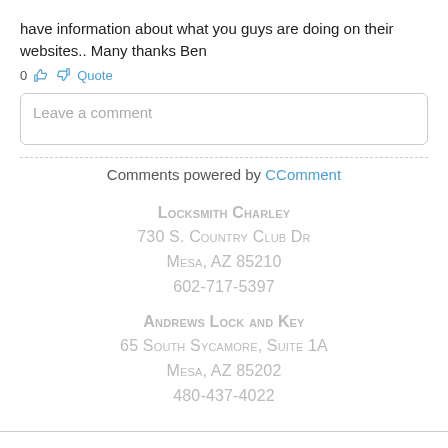have information about what you guys are doing on their websites.. Many thanks Ben
0  👍  👎  Quote
Leave a comment
Comments powered by CComment
Locksmith Charley
730 S. Country Club Dr
Mesa, AZ 85210
602-717-5397
Andrews Lock and Key
65 South Sycamore, Suite 1A
Mesa, AZ 85202
480-437-4022